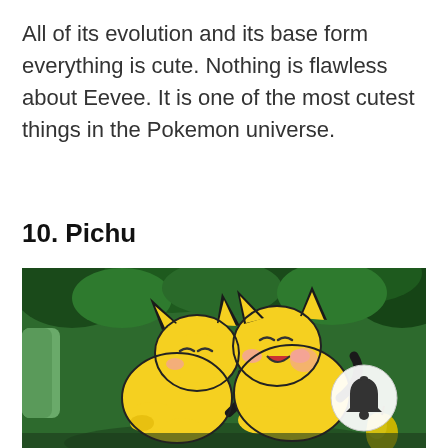All of its evolution and its base form everything is cute. Nothing is flawless about Eevee. It is one of the most cutest things in the Pokemon universe.
10. Pichu
[Figure (illustration): Anime-style illustration of two Pichu Pokemon characters sleeping/resting together in a green jungle setting, with a notification bell icon overlay in the bottom right corner.]